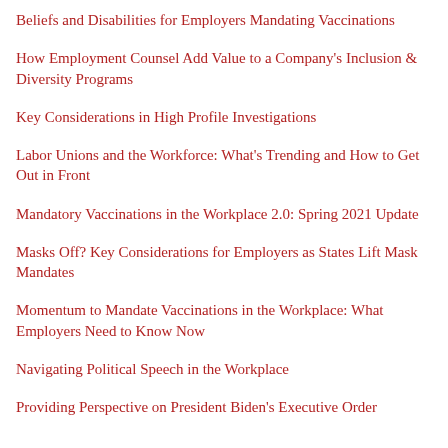Beliefs and Disabilities for Employers Mandating Vaccinations
How Employment Counsel Add Value to a Company's Inclusion & Diversity Programs
Key Considerations in High Profile Investigations
Labor Unions and the Workforce: What's Trending and How to Get Out in Front
Mandatory Vaccinations in the Workplace 2.0: Spring 2021 Update
Masks Off? Key Considerations for Employers as States Lift Mask Mandates
Momentum to Mandate Vaccinations in the Workplace: What Employers Need to Know Now
Navigating Political Speech in the Workplace
Providing Perspective on President Biden's Executive Order